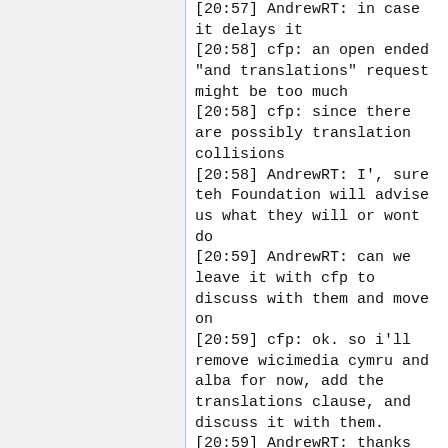[20:57] AndrewRT: in case it delays it
[20:58] cfp: an open ended "and translations" request might be too much
[20:58] cfp: since there are possibly translation collisions
[20:58] AndrewRT: I', sure teh Foundation will advise us what they will or wont do
[20:59] AndrewRT: can we leave it with cfp to discuss with them and move on
[20:59] cfp: ok. so i'll remove wicimedia cymru and alba for now, add the translations clause, and discuss it with them.
[20:59] AndrewRT: thanks
[20:59] KTC_ joined the chat room.
[20:59] KTC  was granted